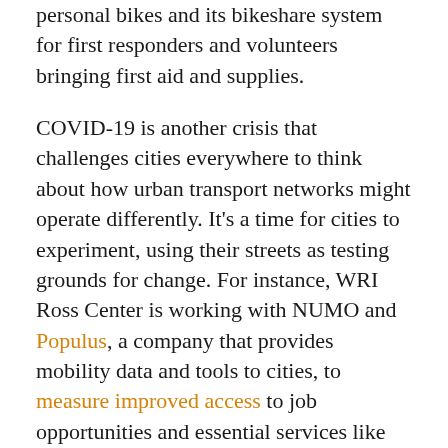personal bikes and its bikeshare system for first responders and volunteers bringing first aid and supplies.
COVID-19 is another crisis that challenges cities everywhere to think about how urban transport networks might operate differently. It's a time for cities to experiment, using their streets as testing grounds for change. For instance, WRI Ross Center is working with NUMO and Populus, a company that provides mobility data and tools to cities, to measure improved access to job opportunities and essential services like hospitals and grocery stores with newly expanded networks of temporary bike lanes.
Today's COVID-19 lockdowns could reveal solutions that have far-reaching benefits for cities long into the future, pointing the way to more resilient,